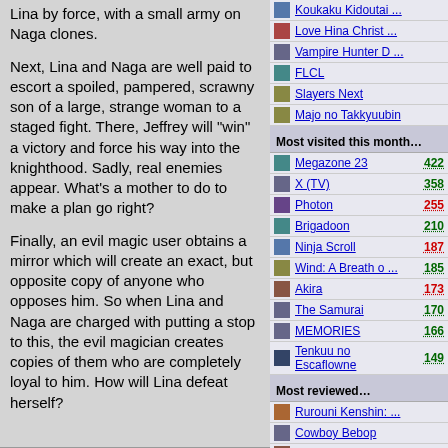Lina by force, with a small army on Naga clones.
Next, Lina and Naga are well paid to escort a spoiled, pampered, scrawny son of a large, strange woman to a staged fight. There, Jeffrey will "win" a victory and force his way into the knighthood. Sadly, real enemies appear. What’s a mother to do to make a plan go right?
Finally, an evil magic user obtains a mirror which will create an exact, but opposite copy of anyone who opposes him. So when Lina and Naga are charged with putting a stop to this, the evil magician creates copies of them who are completely loyal to him. How will Lina defeat herself?
Koukaku Kidoutai ...
Love Hina Christ ...
Vampire Hunter D ...
FLCL
Slayers Next
Majo no Takkyuubin
Most visited this month…
Megazone 23 422
X (TV) 358
Photon 255
Brigadoon 210
Ninja Scroll 187
Wind: A Breath o ... 185
Akira 173
The Samurai 170
MEMORIES 166
Tenkuu no Escaflowne 149
Most reviewed…
Rurouni Kenshin: ...
Cowboy Bebop
Trigun
Shin Seiki Evang ...
.hack//SIGN
Inuyasha
FLCL
Hellsing
Serial Experimen ...
Tenkuu no Escaflowne